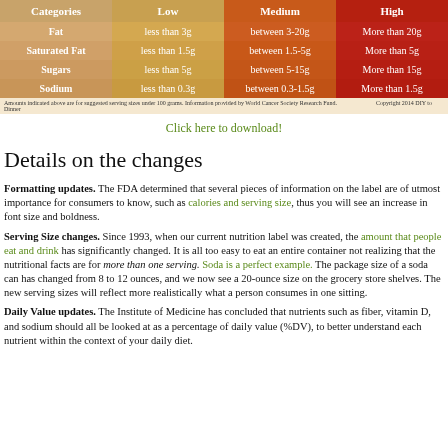| Categories | Low | Medium | High |
| --- | --- | --- | --- |
| Fat | less than 3g | between 3-20g | More than 20g |
| Saturated Fat | less than 1.5g | between 1.5-5g | More than 5g |
| Sugars | less than 5g | between 5-15g | More than 15g |
| Sodium | less than 0.3g | between 0.3-1.5g | More than 1.5g |
Amounts indicated above are for suggested serving sizes under 100 grams. Information provided by World Cancer Society Research Fund. Copyright 2014 DIY to Dinner
Click here to download!
Details on the changes
Formatting updates. The FDA determined that several pieces of information on the label are of utmost importance for consumers to know, such as calories and serving size, thus you will see an increase in font size and boldness.
Serving Size changes. Since 1993, when our current nutrition label was created, the amount that people eat and drink has significantly changed. It is all too easy to eat an entire container not realizing that the nutritional facts are for more than one serving. Soda is a perfect example. The package size of a soda can has changed from 8 to 12 ounces, and we now see a 20-ounce size on the grocery store shelves. The new serving sizes will reflect more realistically what a person consumes in one sitting.
Daily Value updates. The Institute of Medicine has concluded that nutrients such as fiber, vitamin D, and sodium should all be looked at as a percentage of daily value (%DV), to better understand each nutrient within the context of your daily diet.